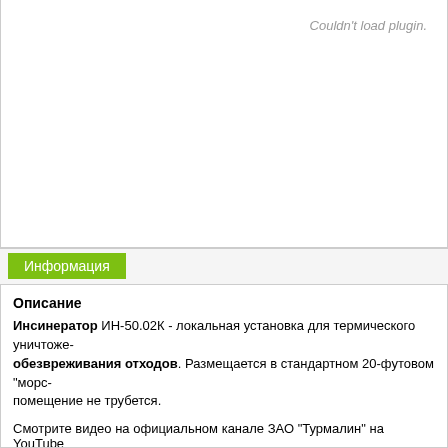[Figure (other): Video plugin area showing 'Couldn't load plugin.' error message]
Информация
Описание
Инсинератор ИН-50.02К - локальная установка для термического уничтоже- обезвреживания отходов. Размещается в стандартном 20-футовом "морс- помещение не трубется.
Смотрите видео на официальном канале ЗАО "Турмалин" на YouTube
Каталог видео
Оборудование и технологии